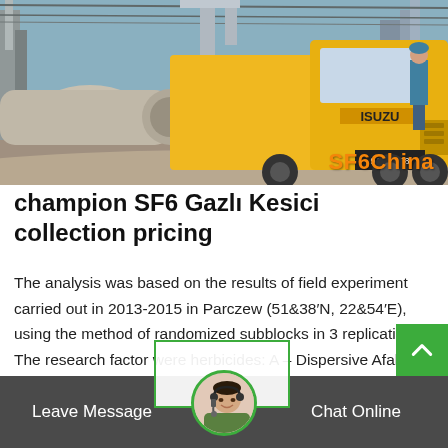[Figure (photo): Yellow ISUZU truck at an industrial site with pipes and electrical equipment, with 'SF6China' watermark in orange at bottom right]
champion SF6 Gazlı Kesici collection pricing
The analysis was based on the results of field experiment carried out in 2013-2015 in Parczew (51&38′N, 22&54′E), using the method of randomized subblocks in 3 replications. The research factor were herbicides: A – Dispersive Afalon 450 SC 450 S.C
[Figure (photo): Customer service agent avatar in circular frame with green border, overlapping a white box with green border]
Leave Message
Chat Online